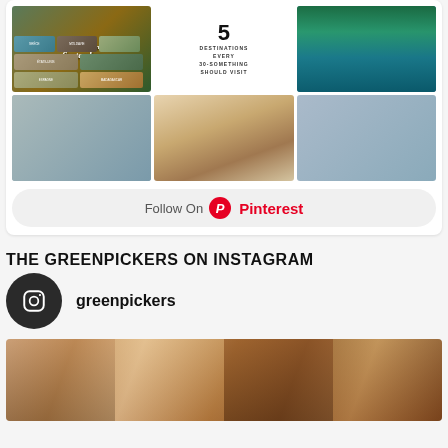[Figure (screenshot): Pinterest widget showing a grid of travel photos including images labeled 'partir en vacances en Septembre', '5 Destinations Every 30-Something Should Visit', and travel destination photos of landscapes and waterways]
Follow On Pinterest
THE GREENPICKERS ON INSTAGRAM
[Figure (photo): Instagram profile icon (camera logo) in dark circle]
greenpickers
[Figure (photo): Photo of ornate architecture with stone columns and arches, warm terracotta tones]